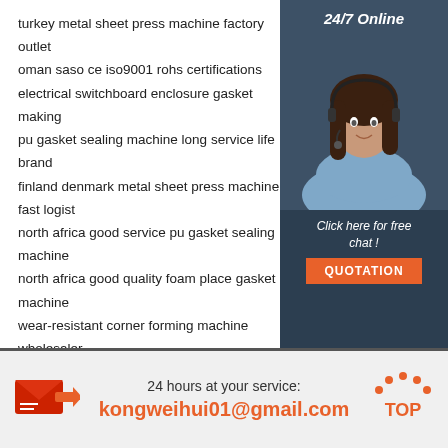turkey metal sheet press machine factory outlet
oman saso ce iso9001 rohs certifications electrical switchboard enclosure gasket making
pu gasket sealing machine long service life brand
finland denmark metal sheet press machine fast logist
north africa good service pu gasket sealing machine
north africa good quality foam place gasket machine
wear-resistant corner forming machine wholesaler
corner forming machine buyers
west africa good service foam place gasket
angola affordable metal bending machine
dust-proof anti-static glue filling machine factory dire
new zealand well-made corner forming machine
[Figure (photo): Customer service agent photo with 24/7 Online badge and Click here for free chat text and QUOTATION button on dark blue sidebar]
24 hours at your service:
kongweihui01@gmail.com